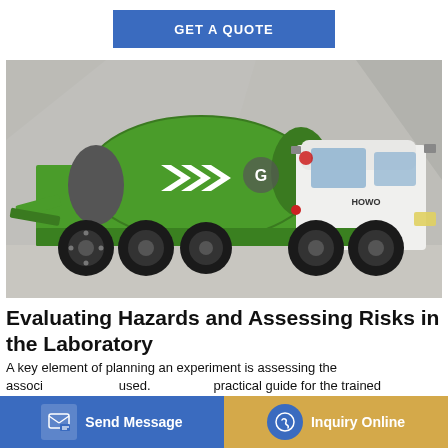GET A QUOTE
[Figure (photo): A green and white HOWO concrete mixer truck parked against a concrete wall background. The mixer drum is green with white arrow chevron logos and a 'G' logo. The truck cab is white with HOWO branding.]
Evaluating Hazards and Assessing Risks in the Laboratory
A key element of planning an experiment is assessing the [hazards] associ[ated with the chemicals] [to be] used. [This is a] practical guide for the trained laboratory personnel engaged in
Send Message
Inquiry Online